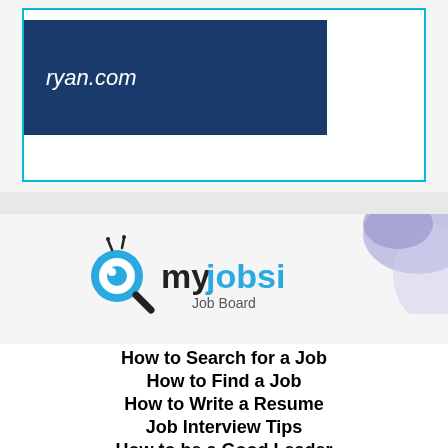[Figure (logo): White box with cyan border containing a dark blue banner with italic text 'ryan.com' in white]
[Figure (logo): myjobsi Job Board logo with magnifying glass icon, 'my' in black, 'jobsi' in blue, 'Job Board' subtitle, with purple decorative blob in top-right corner]
How to Search for a Job
How to Find a Job
How to Write a Resume
Job Interview Tips
How to be a Good Leader